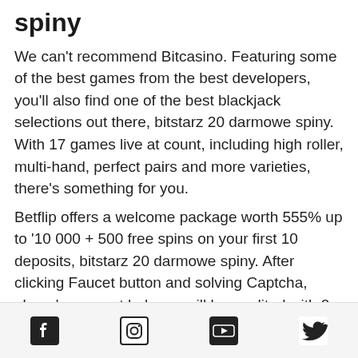spiny
We can't recommend Bitcasino. Featuring some of the best games from the best developers, you'll also find one of the best blackjack selections out there, bitstarz 20 darmowe spiny. With 17 games live at count, including high roller, multi-hand, perfect pairs and more varieties, there's something for you.
Betflip offers a welcome package worth 555% up to ‘10 000 + 500 free spins on your first 10 deposits, bitstarz 20 darmowe spiny. After clicking Faucet button and solving Captcha, player's account balance will be credited with 0. Faucet option can be used once in 10 minutes on one account or IP-address, bitstarz 20 darmowe spiny. Claim free satoshi every 60 minutes.
Bitstarz deposit bonus
Social media icons: Facebook, Instagram, YouTube, Twitter